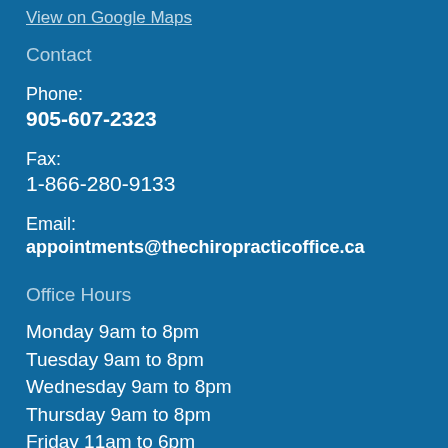View on Google Maps
Contact
Phone:
905-607-2323
Fax:
1-866-280-9133
Email:
appointments@thechiropracticoffice.ca
Office Hours
Monday 9am to 8pm
Tuesday 9am to 8pm
Wednesday 9am to 8pm
Thursday 9am to 8pm
Friday 11am to 6pm
Saturday 9am to 2pm